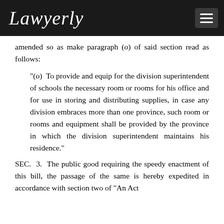Lawyerly
amended so as make paragraph (o) of said section read as follows:
"(o) To provide and equip for the division superintendent of schools the necessary room or rooms for his office and for use in storing and distributing supplies, in case any division embraces more than one province, such room or rooms and equipment shall be provided by the province in which the division superintendent maintains his residence."
SEC. 3. The public good requiring the speedy enactment of this bill, the passage of the same is hereby expedited in accordance with section two of "An Act